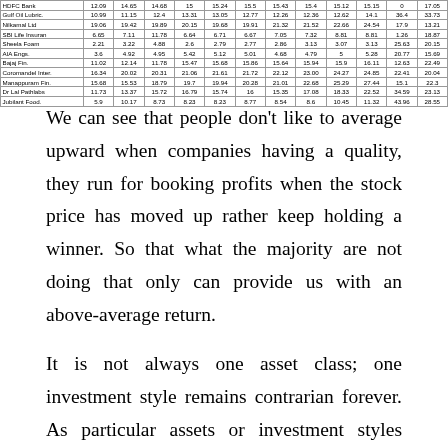|  | col1 | col2 | col3 | col4 | col5 | col6 | col7 | col8 | col9 | col10 | col11 | col12 |
| --- | --- | --- | --- | --- | --- | --- | --- | --- | --- | --- | --- | --- |
| HDFC Bank | 12.09 | 14.65 | 14.68 | 15 | 15.24 | 15.5 | 15.43 | 15.4 | 15.12 | 15.15 | 0 | 17.05 |
| Gulf Oil Lubric. | 10.99 | 11.15 | 12.4 | 13.31 | 13.05 | 12.77 | 12.26 | 12.36 | 12.62 | 14.1 | 36.4 | 33.73 |
| Nilkamal Ltd | 19.06 | 19.42 | 19.89 | 20.15 | 19.68 | 19.91 | 21.32 | 21.52 | 22.66 | 24.54 | 17.9 | 13.21 |
| SBI Life Insuran | 6.65 | 7.11 | 11.78 | 6.64 | 6.71 | 6.67 | 7.05 | 7.32 | 8.81 | 8.81 | 1.26 | 18.87 |
| Sheela Foam | 2.21 | 3.22 | 4.88 | 2.6 | 2.79 | 2.77 | 2.86 | 3.13 | 3.07 | 3.13 | 25.63 | 20.15 |
| AIA Engs. | 3.6 | 4.92 | 4.95 | 5.42 | 5.12 | 5.01 | 4.68 | 4.79 | 5 | 5.28 | 20.77 | 15.69 |
| Bajaj Fin. | 11.02 | 12.14 | 11.78 | 15.47 | 15.68 | 15.86 | 15.64 | 15.94 | 15.9 | 16.11 | 12.63 | 22.49 |
| Coromandel Inter. | 16.34 | 20.02 | 20.31 | 21.06 | 21.61 | 21.72 | 22.12 | 23.00 | 24.27 | 24.85 | 22.41 | 20.04 |
| Manappuram Fin. | 15.68 | 15.53 | 18.79 | 19.7 | 19.94 | 20.28 | 21.01 | 22.68 | 25.29 | 27.44 | 15.1 | 22.3 |
| Dr Lal Pathlabs | 11.73 | 13.37 | 15.72 | 16.79 | 15.74 | 16 | 15.35 | 17.08 | 18.33 | 22.52 | 34.59 | 23.13 |
| Jubilant Food. | 5.9 | 10.17 | 8.73 | 8.23 | 8.23 | 8.77 | 8.54 | 8.6 | 10.45 | 11.32 | 43.96 | 28.55 |
We can see that people don't like to average upward when companies having a quality, they run for booking profits when the stock price has moved up rather keep holding a winner. So that what the majority are not doing that only can provide us with an above-average return.
It is not always one asset class; one investment style remains contrarian forever. As particular assets or investment styles generating above-average returns